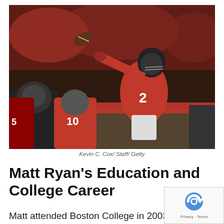[Figure (photo): Atlanta Falcons quarterback Matt Ryan (#2) in a red uniform throwing a pass during an NFL game, with offensive linemen in the foreground and a crowd in the background.]
Kevin C. Cox/ Staff/ Getty
Matt Ryan's Education and College Career
Matt attended Boston College in 2003 and before